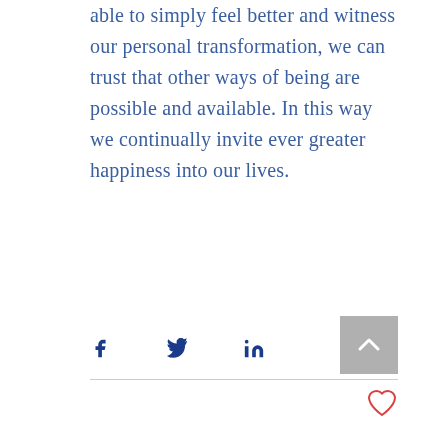able to simply feel better and witness our personal transformation, we can trust that other ways of being are possible and available. In this way we continually invite ever greater happiness into our lives.
[Figure (other): Social sharing icons: Facebook (f), Twitter (bird), LinkedIn (in), and a back-to-top button (grey square with upward chevron arrow)]
[Figure (other): Heart/like icon (outline heart in red/coral color)]